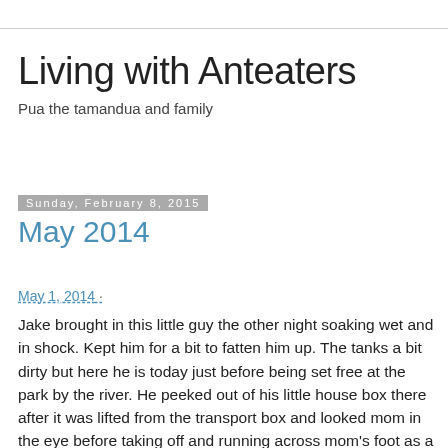Living with Anteaters
Pua the tamandua and family
Sunday, February 8, 2015
May 2014
May 1, 2014 ·
Jake brought in this little guy the other night soaking wet and in shock. Kept him for a bit to fatten him up. The tanks a bit dirty but here he is today just before being set free at the park by the river. He peeked out of his little house box there after it was lifted from the transport box and looked mom in the eye before taking off and running across mom's foot as a thank you.